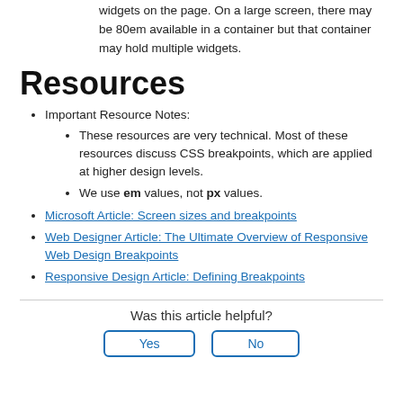widgets on the page. On a large screen, there may be 80em available in a container but that container may hold multiple widgets.
Resources
Important Resource Notes:
These resources are very technical. Most of these resources discuss CSS breakpoints, which are applied at higher design levels.
We use em values, not px values.
Microsoft Article: Screen sizes and breakpoints
Web Designer Article: The Ultimate Overview of Responsive Web Design Breakpoints
Responsive Design Article: Defining Breakpoints
Was this article helpful?
Yes   No